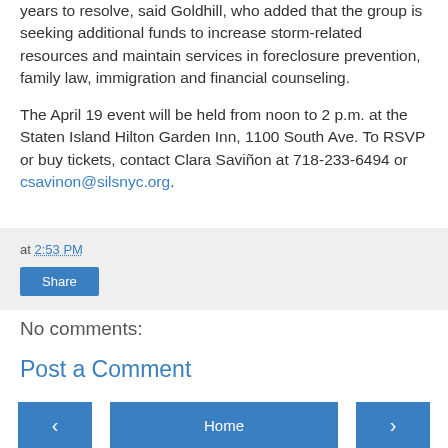years to resolve, said Goldhill, who added that the group is seeking additional funds to increase storm-related resources and maintain services in foreclosure prevention, family law, immigration and financial counseling.
The April 19 event will be held from noon to 2 p.m. at the Staten Island Hilton Garden Inn, 1100 South Ave. To RSVP or buy tickets, contact Clara Saviñon at 718-233-6494 or csavinon@silsnyc.org.
at 2:53 PM
Share
No comments:
Post a Comment
< Home >